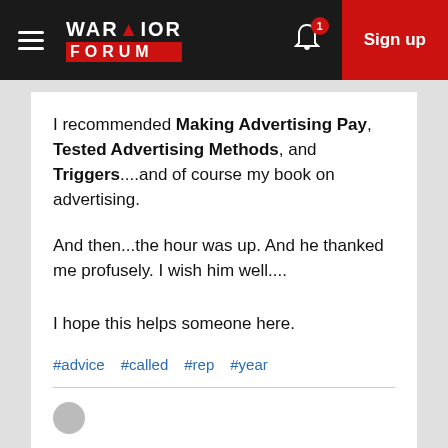Warrior Forum | Sign up
I recommended Making Advertising Pay, Tested Advertising Methods, and Triggers....and of course my book on advertising.
And then...the hour was up. And he thanked me profusely. I wish him well....
I hope this helps someone here.
#advice #called #rep #year